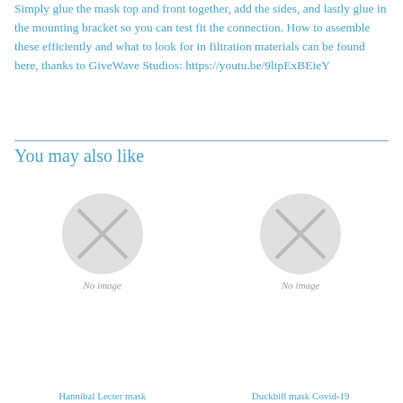Simply glue the mask top and front together, add the sides, and lastly glue in the mounting bracket so you can test fit the connection. How to assemble these efficiently and what to look for in filtration materials can be found here, thanks to GiveWave Studios: https://youtu.be/9ltpExBEieY
You may also like
[Figure (photo): No image placeholder circle for Hannibal Lecter mask product]
Hannibal Lecter mask
[Figure (photo): No image placeholder circle for Duckbill mask Covid-19 product]
Duckbill mask Covid-19